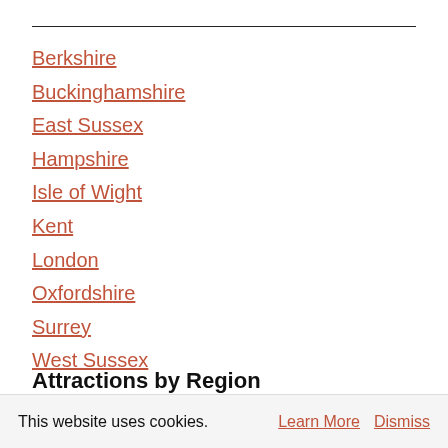Berkshire
Buckinghamshire
East Sussex
Hampshire
Isle of Wight
Kent
London
Oxfordshire
Surrey
West Sussex
Attractions by Region
This website uses cookies. Learn More Dismiss